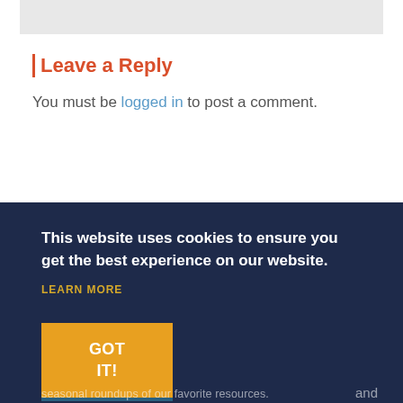Leave a Reply
You must be logged in to post a comment.
This website uses cookies to ensure you get the best experience on our website.
LEARN MORE
GOT IT!
seasonal roundups of our favorite resources.